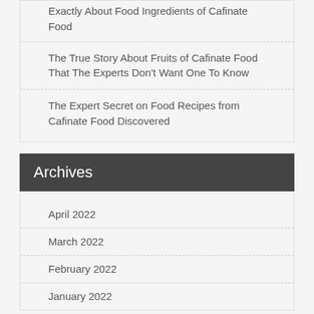Exactly About Food Ingredients of Cafinate Food
The True Story About Fruits of Cafinate Food That The Experts Don't Want One To Know
The Expert Secret on Food Recipes from Cafinate Food Discovered
Archives
April 2022
March 2022
February 2022
January 2022